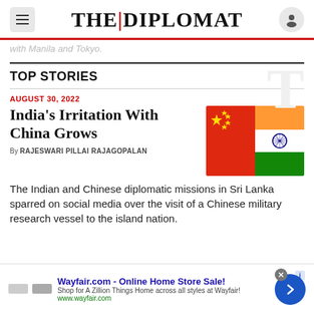THE DIPLOMAT
with Manila and Tokyo.
TOP STORIES
AUGUST 30, 2022
India's Irritation With China Grows
By RAJESWARI PILLAI RAJAGOPALAN
[Figure (photo): Chinese and Indian flags side by side]
The Indian and Chinese diplomatic missions in Sri Lanka sparred on social media over the visit of a Chinese military research vessel to the island nation.
Wayfair.com - Online Home Store Sale! Shop for A Zillion Things Home across all styles at Wayfair! www.wayfair.com